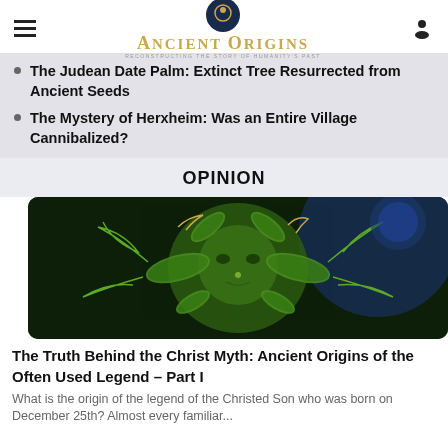Ancient Origins — Reconstructing the story of humanity's past
The Judean Date Palm: Extinct Tree Resurrected from Ancient Seeds
The Mystery of Herxheim: Was an Entire Village Cannibalized?
OPINION
[Figure (illustration): Decorative illustration of a green man face made of leaves and plant motifs on a dark mystical background]
The Truth Behind the Christ Myth: Ancient Origins of the Often Used Legend – Part I
What is the origin of the legend of the Christed Son who was born on December 25th? Almost every familiar...